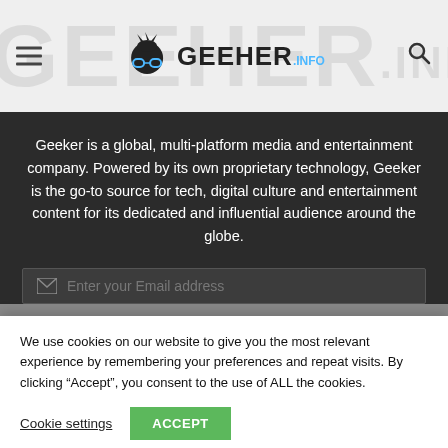GEEKER.INFO
Geeker is a global, multi-platform media and entertainment company. Powered by its own proprietary technology, Geeker is the go-to source for tech, digital culture and entertainment content for its dedicated and influential audience around the globe.
Enter your Email address
We use cookies on our website to give you the most relevant experience by remembering your preferences and repeat visits. By clicking “Accept”, you consent to the use of ALL the cookies.
Cookie settings
ACCEPT